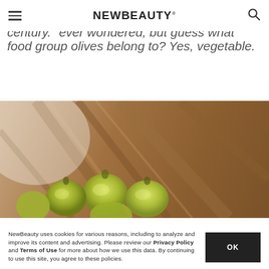NEWBEAUTY
food group olives belong to? Yes, vegetable.
[Figure (photo): Close-up photo of green olives with wooden utensils/serving tools in the background on a rustic surface]
NewBeauty uses cookies for various reasons, including to analyze and improve its content and advertising. Please review our Privacy Policy and Terms of Use for more about how we use this data. By continuing to use this site, you agree to these policies.